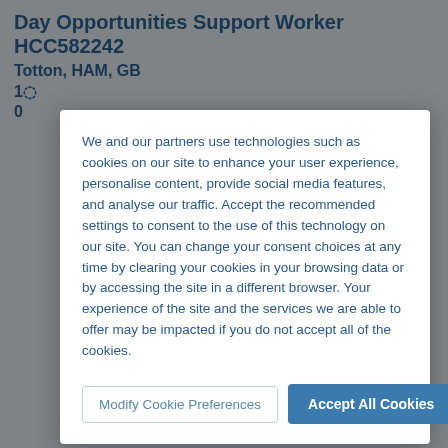Day Opportunities Support Worker HCC582242
Totton, HAM, GB
1[partially obscured]
0[partially obscured]
We and our partners use technologies such as cookies on our site to enhance your user experience, personalise content, provide social media features, and analyse our traffic. Accept the recommended settings to consent to the use of this technology on our site. You can change your consent choices at any time by clearing your cookies in your browsing data or by accessing the site in a different browser. Your experience of the site and the services we are able to offer may be impacted if you do not accept all of the cookies.
Modify Cookie Preferences
Accept All Cookies